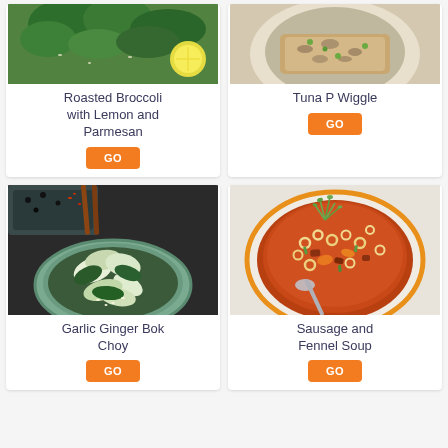[Figure (photo): Roasted broccoli with lemon on a plate - top crop visible]
Roasted Broccoli with Lemon and Parmesan
GO
[Figure (photo): Tuna P Wiggle dish - top crop visible]
Tuna P Wiggle
GO
[Figure (photo): Bowl of Garlic Ginger Bok Choy with sesame seeds and chopsticks in background]
Garlic Ginger Bok Choy
GO
[Figure (photo): Bowl of Sausage and Fennel Soup with pasta and dill garnish]
Sausage and Fennel Soup
GO